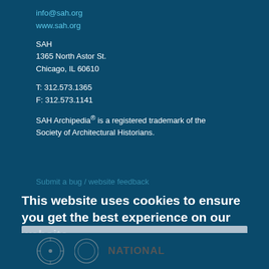info@sah.org
www.sah.org
SAH
1365 North Astor St.
Chicago, IL 60610
T: 312.573.1365
F: 312.573.1141
SAH Archipedia® is a registered trademark of the Society of Architectural Historians.
Submit a bug / website feedback
This website uses cookies to ensure you get the best experience on our website.
LEAD SPONSORS
SAH Archipedia has been made available in part by a major grant from the National Endowment for the Humanities. Democracy demands wisdom.
Got it!
NATIONAL